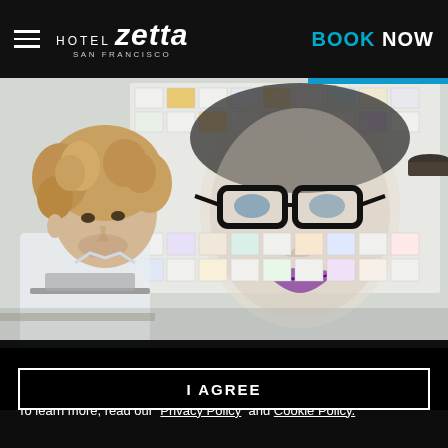HOTEL zetta SAN FRANCISCO | BOOK NOW
[Figure (photo): Hotel lobby photo showing a man with curly blonde hair working on a laptop, with a large pop-art portrait painting of a woman wearing glasses made of floppy disks in the background.]
We use cookies to understand how you use our site and to improve your experience.  By using our site, you agree to our use of cookies.  To learn more, read our   Privacy Policy  and Cookie Policy.
I AGREE